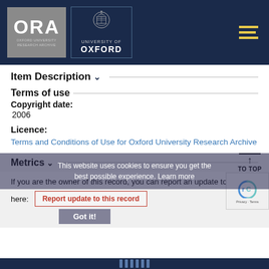[Figure (logo): ORA Oxford University Research Archive logo and University of Oxford crest logo on dark navy header with hamburger menu]
Item Description ▾
Terms of use
Copyright date:
2006
Licence:
Terms and Conditions of Use for Oxford University Research Archive
Metrics ▾
This website uses cookies to ensure you get the best possible experience. Learn more
If you are the owner of this record, you can report an update to it here:
Report update to this record
Got it!